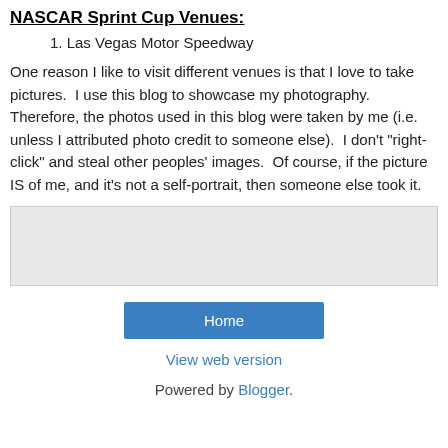NASCAR Sprint Cup Venues:
1. Las Vegas Motor Speedway
One reason I like to visit different venues is that I love to take pictures.  I use this blog to showcase my photography.  Therefore, the photos used in this blog were taken by me (i.e. unless I attributed photo credit to someone else).  I don't "right-click" and steal other peoples' images.  Of course, if the picture IS of me, and it's not a self-portrait, then someone else took it.
[Figure (other): Gray box / widget area]
Home
View web version
Powered by Blogger.